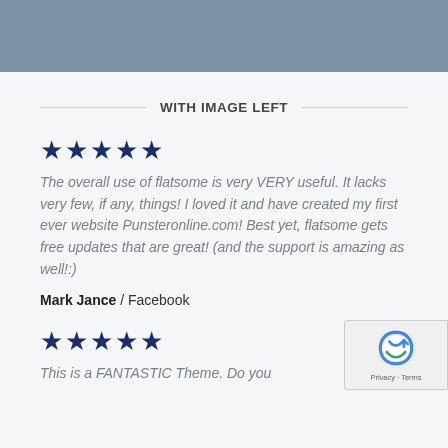[Figure (other): Grayish-blue header banner strip]
WITH IMAGE LEFT
[Figure (other): Five dark blue stars (5-star rating)]
The overall use of flatsome is very VERY useful. It lacks very few, if any, things! I loved it and have created my first ever website Punsteronline.com! Best yet, flatsome gets free updates that are great! (and the support is amazing as well!:)
Mark Jance / Facebook
[Figure (other): Five dark blue stars (5-star rating)]
This is a FANTASTIC Theme. Do you